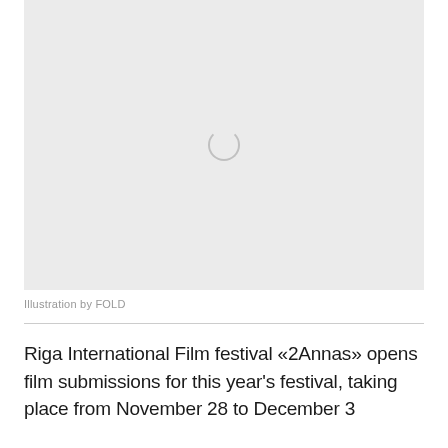[Figure (illustration): A light gray placeholder image box with a loading spinner icon in the center, indicating an image that has not yet loaded.]
Illustration by FOLD
Riga International Film festival «2Annas» opens film submissions for this year's festival, taking place from November 28 to December 3